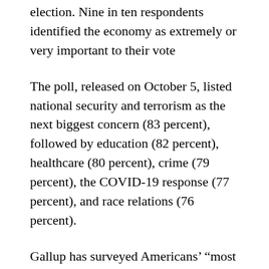election. Nine in ten respondents identified the economy as extremely or very important to their vote
The poll, released on October 5, listed national security and terrorism as the next biggest concern (83 percent), followed by education (82 percent), healthcare (80 percent), crime (79 percent), the COVID-19 response (77 percent), and race relations (76 percent).
Gallup has surveyed Americans’ “most important concerns” since 1939. The survey became monthly in 2001.
“It is not surprising that voters overall rate the economy as the most important issue impacting their vote for president this year given the fragile state of the U.S. economy and their tendency